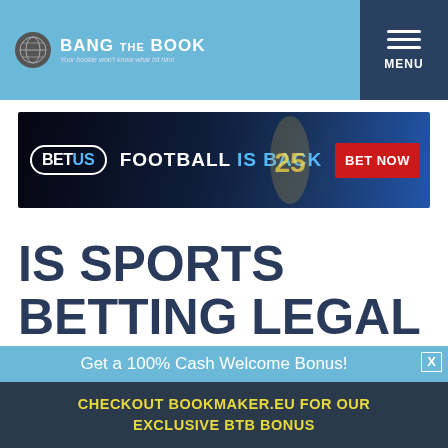BangTheBook — Your bookie won't know what hit him!
[Figure (screenshot): BetUS Football Is Back advertisement banner with BET NOW button]
IS SPORTS BETTING LEGAL IN WASHINGTON?
The AP... stone state you... sportsbooks in ...
Get a 100% Cash Welcome Bonus!
CHECKOUT BOOKMAKER.EU FOR OUR EXCLUSIVE BTB BONUS